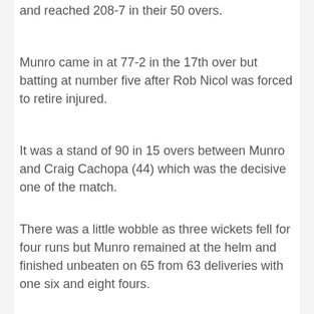and reached 208-7 in their 50 overs.
Munro came in at 77-2 in the 17th over but batting at number five after Rob Nicol was forced to retire injured.
It was a stand of 90 in 15 overs between Munro and Craig Cachopa (44) which was the decisive one of the match.
There was a little wobble as three wickets fell for four runs but Munro remained at the helm and finished unbeaten on 65 from 63 deliveries with one six and eight fours.
His scores in the competition are 79 not out, 12 not out, 22, 22, 50 and 65 not out – a total of 250 runs.
Munro finished as Worcestershire's second